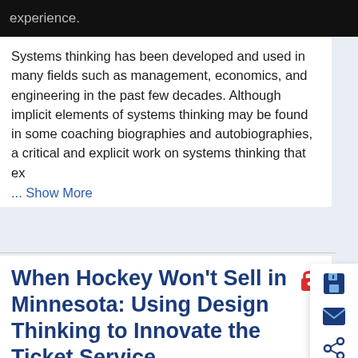[Figure (screenshot): Black banner at top with partially visible text 'experience.']
Systems thinking has been developed and used in many fields such as management, economics, and engineering in the past few decades. Although implicit elements of systems thinking may be found in some coaching biographies and autobiographies, a critical and explicit work on systems thinking that ex
... Show More
When Hockey Won't Sell in Minnesota: Using Design Thinking to Innovate the Ticket Service